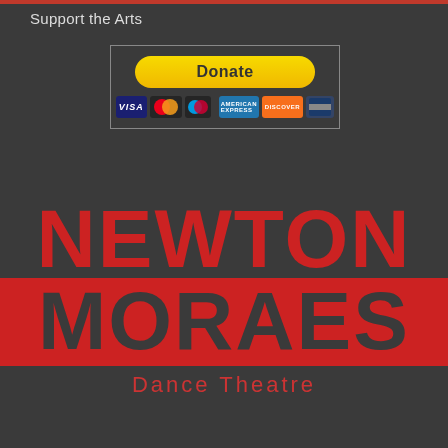Support the Arts
[Figure (screenshot): PayPal Donate button with credit card icons (Visa, Mastercard, Maestro, American Express, Discover, and one more) displayed inside a bordered box]
[Figure (logo): Newton Moraes Dance Theatre logo: NEWTON in large red letters on dark background, MORAES in large dark letters on red background, 'Dance Theatre' in smaller red text below]